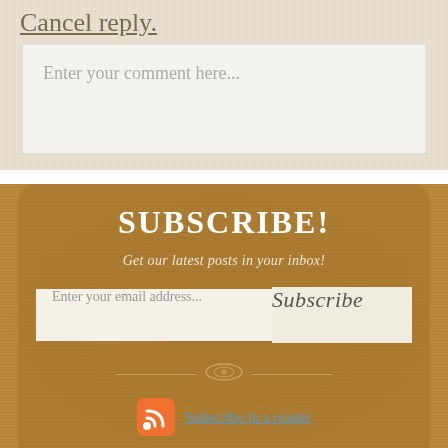Cancel reply.
Enter your comment here...
SUBSCRIBE!
Get our latest posts in your inbox!
Enter your email address...
Subscribe
Subscribe in a reader